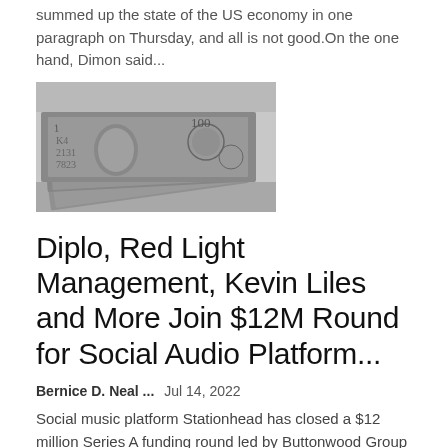summed up the state of the US economy in one paragraph on Thursday, and all is not good.On the one hand, Dimon said...
[Figure (photo): Close-up black and white photo of US dollar bills stacked, showing numbers and partial faces on the currency.]
Diplo, Red Light Management, Kevin Liles and More Join $12M Round for Social Audio Platform...
Bernice D. Neal ...   Jul 14, 2022
Social music platform Stationhead has closed a $12 million Series A funding round led by Buttonwood Group Advisors.The startup has